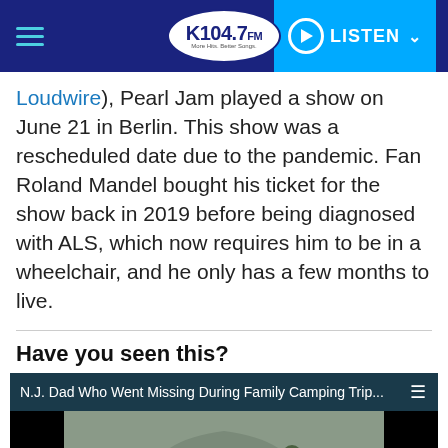K104.7 — LISTEN
Loudwire), Pearl Jam played a show on June 21 in Berlin. This show was a rescheduled date due to the pandemic. Fan Roland Mandel bought his ticket for the show back in 2019 before being diagnosed with ALS, which now requires him to be in a wheelchair, and he only has a few months to live.
Have you seen this?
[Figure (screenshot): Video thumbnail showing N.J. Dad Who Went Missing During Family Camping Trip... with a military helmet with American flag patch. A mute/speaker icon button in yellow circle is visible at bottom left.]